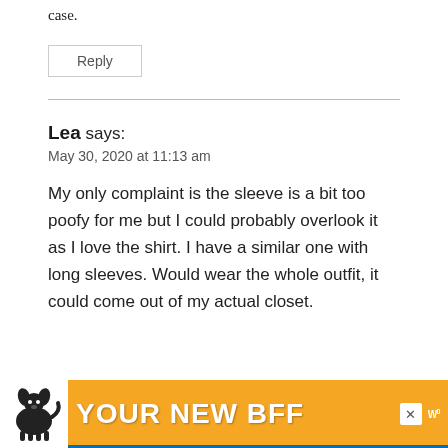case.
Reply
Lea says:
May 30, 2020 at 11:13 am
My only complaint is the sleeve is a bit too poofy for me but I could probably overlook it as I love the shirt. I have a similar one with long sleeves. Would wear the whole outfit, it could come out of my actual closet.
[Figure (other): Advertisement banner with orange background showing a dog silhouette on the left and text 'YOUR NEW BFF' in bold white letters, with a close button and logo on the right.]